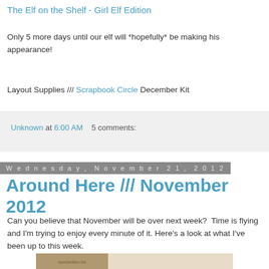The Elf on the Shelf - Girl Elf Edition
Only 5 more days until our elf will *hopefully* be making his appearance!
Layout Supplies /// Scrapbook Circle December Kit
Unknown at 6:00 AM   5 comments:
Wednesday, November 21, 2012
Around Here /// November 2012
Can you believe that November will be over next week?  Time is flying and I'm trying to enjoy every minute of it.  Here's a look at what I've been up to this week.
[Figure (photo): A handwritten list on paper with an envelope or folder visible]